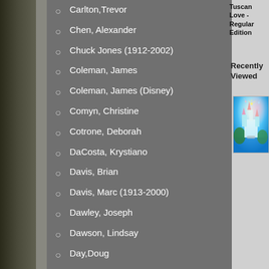Tuscan Love - Regular Edition
Recently Viewed
[Figure (photo): Thumbnail of a fantasy castle painting with fireworks and blue tones]
Carlton,Trevor
Chen, Alexander
Chuck Jones (1912-2002)
Coleman, James
Coleman, James (Disney)
Comyn, Christine
Cotrone, Deborah
DaCosta, Krystiano
Davis, Brian
Davis, Marc (1913-2000)
Dawley, Joseph
Dawson, Lindsay
Day,Doug